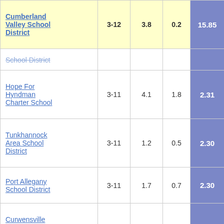| School/District | Grades | Col3 | Col4 | Score |
| --- | --- | --- | --- | --- |
| Cumberland Valley School District | 3-12 | 3.8 | 0.2 | 15.85 |
| School District (partial) |  |  |  |  |
| Hope For Hyndman Charter School | 3-11 | 4.1 | 1.8 | 2.31 |
| Tunkhannock Area School District | 3-11 | 1.2 | 0.5 | 2.30 |
| Port Allegany School District | 3-11 | 1.7 | 0.7 | 2.30 |
| Curwensville Area School District | 3-11 | 1.8 | 0.8 | 2.29 |
| Johnsonburg Area School District | 3-11 | 2.2 | 1.0 | 2.28 |
| Armstrong (partial) |  |  |  |  |